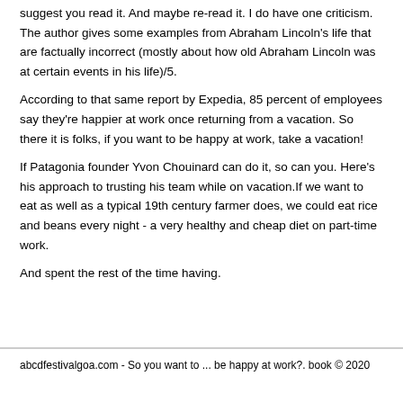suggest you read it. And maybe re-read it. I do have one criticism. The author gives some examples from Abraham Lincoln's life that are factually incorrect (mostly about how old Abraham Lincoln was at certain events in his life)/5.
According to that same report by Expedia, 85 percent of employees say they're happier at work once returning from a vacation. So there it is folks, if you want to be happy at work, take a vacation!
If Patagonia founder Yvon Chouinard can do it, so can you. Here's his approach to trusting his team while on vacation.If we want to eat as well as a typical 19th century farmer does, we could eat rice and beans every night - a very healthy and cheap diet on part-time work.
And spent the rest of the time having.
abcdfestivalgoa.com - So you want to ... be happy at work?. book © 2020